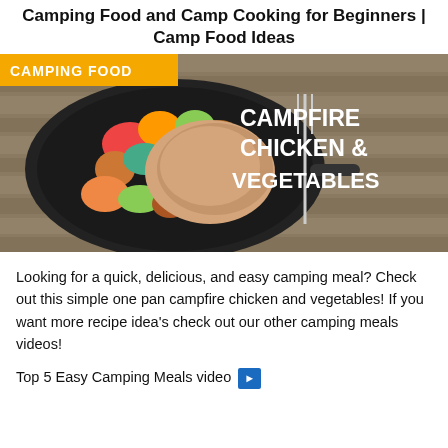Camping Food and Camp Cooking for Beginners | Camp Food Ideas
[Figure (photo): A cast iron pan with campfire chicken and mixed vegetables on a wooden background, with a fork visible beside the pan. A yellow 'CAMPING FOOD' badge is in the top-left corner and white bold text reading 'CAMPFIRE CHICKEN & VEGETABLES' is on the right side.]
Looking for a quick, delicious, and easy camping meal? Check out this simple one pan campfire chicken and vegetables! If you want more recipe idea's check out our other camping meals videos!
Top 5 Easy Camping Meals video ➡